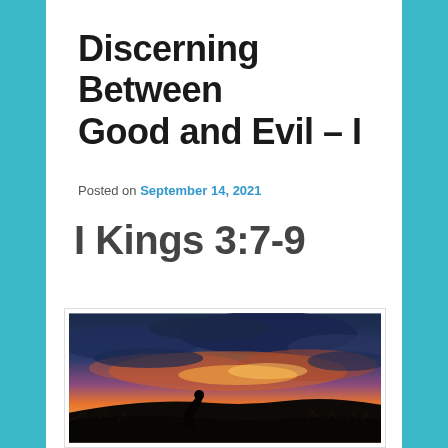Discerning Between Good and Evil – I
Posted on September 14, 2021
I Kings 3:7-9
[Figure (photo): Silhouette of a person kneeling in prayer on a hilltop against a dramatic sunset sky with vivid orange, pink, and dark blue clouds]